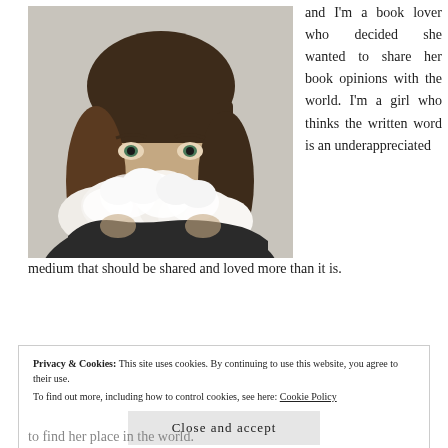[Figure (photo): Young woman with bangs holding white flowers (roses/peonies) in front of her lower face, against a light grey background.]
and I'm a book lover who decided she wanted to share her book opinions with the world. I'm a girl who thinks the written word is an underappreciated medium that should be shared and loved more than it is.
Privacy & Cookies: This site uses cookies. By continuing to use this website, you agree to their use.
To find out more, including how to control cookies, see here: Cookie Policy
Close and accept
to find her place in the world.